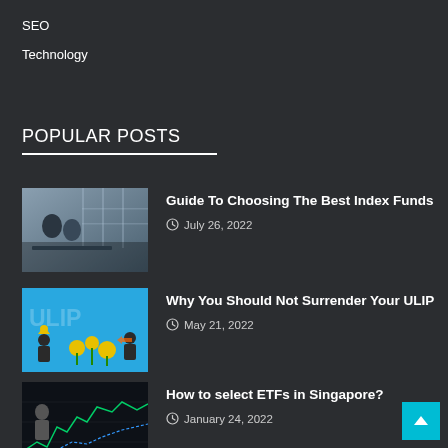SEO
Technology
POPULAR POSTS
Guide To Choosing The Best Index Funds
July 26, 2022
Why You Should Not Surrender Your ULIP
May 21, 2022
How to select ETFs in Singapore?
January 24, 2022